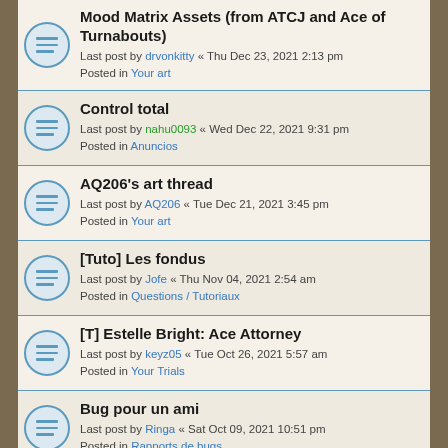Mood Matrix Assets (from ATCJ and Ace of Turnabouts)
Last post by drvonkitty « Thu Dec 23, 2021 2:13 pm
Posted in Your art
Control total
Last post by nahu0093 « Wed Dec 22, 2021 9:31 pm
Posted in Anuncios
AQ206's art thread
Last post by AQ206 « Tue Dec 21, 2021 3:45 pm
Posted in Your art
[Tuto] Les fondus
Last post by Jofe « Thu Nov 04, 2021 2:54 am
Posted in Questions / Tutoriaux
[T] Estelle Bright: Ace Attorney
Last post by keyz05 « Tue Oct 26, 2021 5:57 am
Posted in Your Trials
Bug pour un ami
Last post by Ringa « Sat Oct 09, 2021 10:51 pm
Posted in Rapports de bugs
Seeking Logic Consultant
Last post by applekitty « Thu Sep 16, 2021 6:45 pm
Posted in General chatting